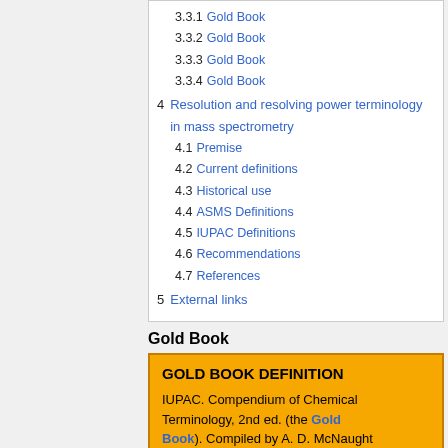3.3.1 Gold Book
3.3.2 Gold Book
3.3.3 Gold Book
3.3.4 Gold Book
4 Resolution and resolving power terminology in mass spectrometry
4.1 Premise
4.2 Current definitions
4.3 Historical use
4.4 ASMS Definitions
4.5 IUPAC Definitions
4.6 Recommendations
4.7 References
5 External links
Gold Book
GOLD BOOK DEFINITION
IUPAC. Compendium of Chemical Terminology, 2nd ed. (the Gold Book). Compiled by A. D. McNaught